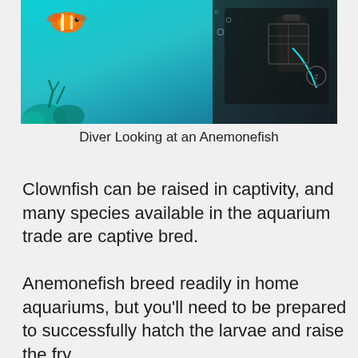[Figure (photo): Underwater scene showing a scuba diver looking at an anemonefish (clownfish) near coral reef. The diver is in dark wetsuit with equipment visible, and a small orange and white clownfish is visible in the upper left. The water is turquoise/blue.]
Diver Looking at an Anemonefish
Clownfish can be raised in captivity, and many species available in the aquarium trade are captive bred.
Anemonefish breed readily in home aquariums, but you’ll need to be prepared to successfully hatch the larvae and raise the fry.